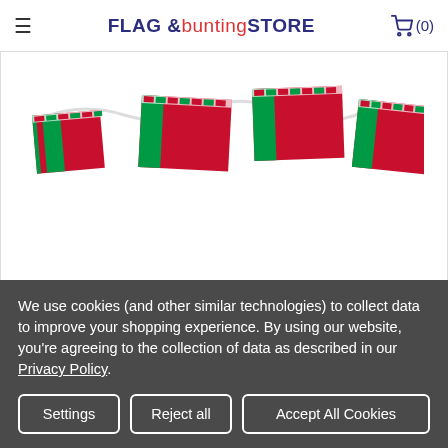FLAG & bunting STORE (0)
[Figure (photo): Belarus bunting product photo showing red and green flag pennants strung on a white cord against a white background]
Belarus Bunting
£9.60
We use cookies (and other similar technologies) to collect data to improve your shopping experience. By using our website, you're agreeing to the collection of data as described in our Privacy Policy.
Settings | Reject all | Accept All Cookies